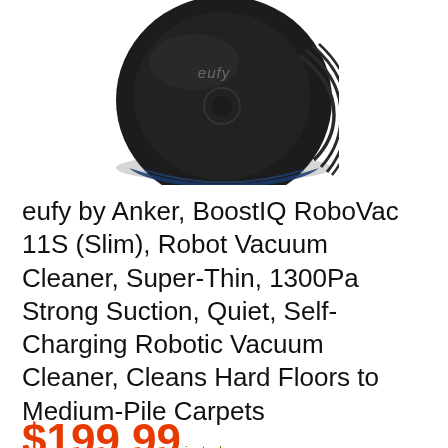[Figure (photo): Top-down view of eufy by Anker BoostIQ RoboVac 11S robot vacuum cleaner, showing the black circular top with eufy logo and blue side visible at bottom edge]
eufy by Anker, BoostIQ RoboVac 11S (Slim), Robot Vacuum Cleaner, Super-Thin, 1300Pa Strong Suction, Quiet, Self-Charging Robotic Vacuum Cleaner, Cleans Hard Floors to Medium-Pile Carpets
$199.99 instock